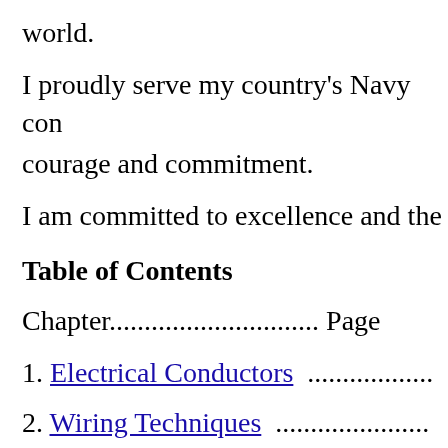world.
I proudly serve my country's Navy co…
courage and commitment.
I am committed to excellence and the…
Table of Contents
Chapter.............................. Page
1. Electrical Conductors  ..................
2. Wiring Techniques  ..................